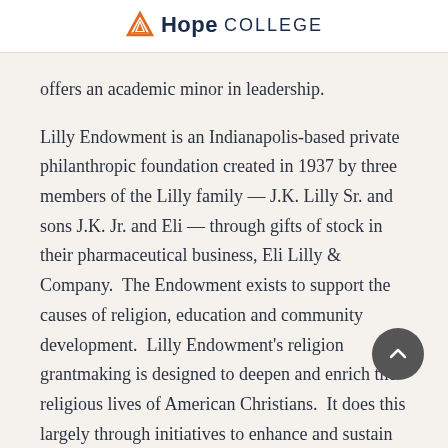Hope College
offers an academic minor in leadership.
Lilly Endowment is an Indianapolis-based private philanthropic foundation created in 1937 by three members of the Lilly family — J.K. Lilly Sr. and sons J.K. Jr. and Eli — through gifts of stock in their pharmaceutical business, Eli Lilly & Company.  The Endowment exists to support the causes of religion, education and community development.  Lilly Endowment's religion grantmaking is designed to deepen and enrich the religious lives of American Christians.  It does this largely through initiatives to enhance and sustain the quality of ministry in American congregations and parishes.